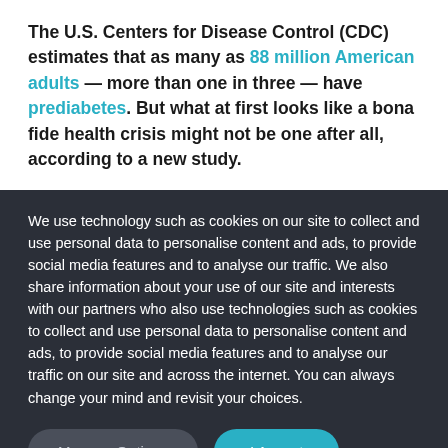The U.S. Centers for Disease Control (CDC) estimates that as many as 88 million American adults — more than one in three — have prediabetes. But what at first looks like a bona fide health crisis might not be one after all, according to a new study.
We use technology such as cookies on our site to collect and use personal data to personalise content and ads, to provide social media features and to analyse our traffic. We also share information about your use of our site and interests with our partners who also use technologies such as cookies to collect and use personal data to personalise content and ads, to provide social media features and to analyse our traffic on our site and across the internet. You can always change your mind and revisit your choices.